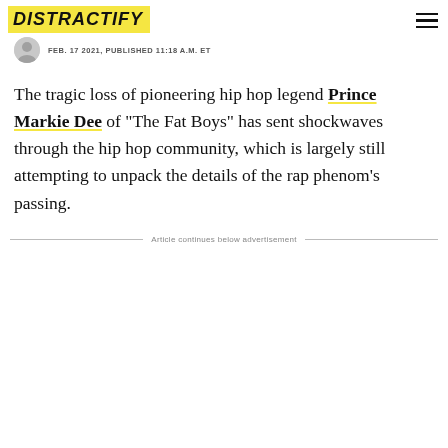DISTRACTIFY
FEB. 17 2021, PUBLISHED 11:18 A.M. ET
The tragic loss of pioneering hip hop legend Prince Markie Dee of "The Fat Boys" has sent shockwaves through the hip hop community, which is largely still attempting to unpack the details of the rap phenom's passing.
Article continues below advertisement